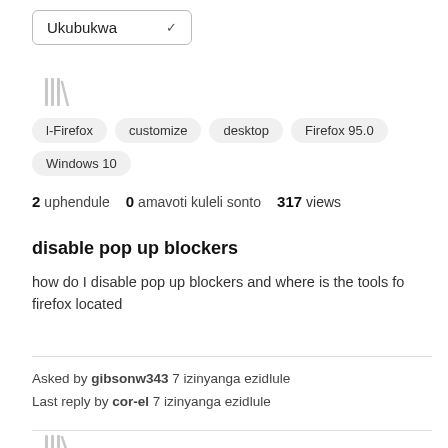Ukubukwa (dropdown)
[Figure (illustration): Library/stack icon in light gray]
l-Firefox
customize
desktop
Firefox 95.0
Windows 10
2 uphendule  0 amavoti kuleli sonto  317 views
disable pop up blockers
how do I disable pop up blockers and where is the tools for firefox located
Asked by gibsonw343 7 izinyanga ezidlule
Last reply by cor-el 7 izinyanga ezidlule
[Figure (illustration): Library/stack icon in light gray at bottom]